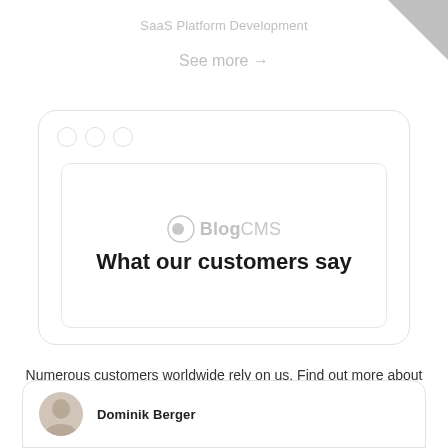SaaS Platform Development
See more →
[Figure (screenshot): Browser window mockup showing the BlogCMS logo and 'What our customers say' heading inside an inner bordered card]
Numerous customers worldwide rely on us. Find out more about the opportunities we offer other companies with our services.
[Figure (screenshot): Bottom of a testimonial card showing a person avatar and the name 'Dominik Berger' (partially visible)]